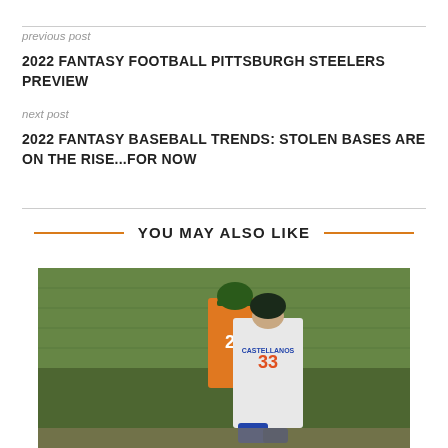previous post
2022 FANTASY FOOTBALL PITTSBURGH STEELERS PREVIEW
next post
2022 FANTASY BASEBALL TRENDS: STOLEN BASES ARE ON THE RISE...FOR NOW
YOU MAY ALSO LIKE
[Figure (photo): Baseball players on a field, one wearing jersey number 33 with name CASTELLANOS, another in an orange jersey with number 25, in front of a green net/fence backdrop]